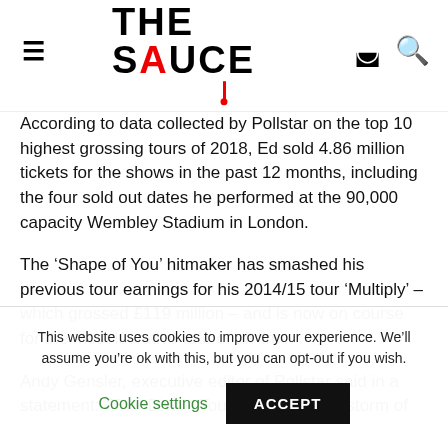THE SAUCE — site navigation header with hamburger menu, logo, and icons
According to data collected by Pollstar on the top 10 highest grossing tours of 2018, Ed sold 4.86 million tickets for the shows in the past 12 months, including the four sold out dates he performed at the 90,000 capacity Wembley Stadium in London.
The ‘Shape of You’ hitmaker has smashed his previous tour earnings for his 2014/15 tour ‘Multiply’ – which grossed £119 million – and is now on course for the most lucrative tour of all time.
Andy Gensler, executive editor of Pollstar said in a statement: “The ‘Divide Tour’ was a perfect storm of
This website uses cookies to improve your experience. We’ll assume you’re ok with this, but you can opt-out if you wish.
Cookie settings    ACCEPT